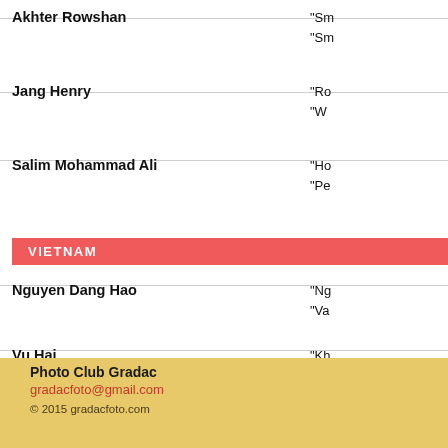Akhter Rowshan — "Sm...", "Sm..."
Jang Henry — "Ro...", "W..."
Salim Mohammad Ali — "Ho...", "Pe..."
VIETNAM
Nguyen Dang Hao — "Ng...", "Va..."
Vu Hai — "Kh...", "Le..."
Vu Manh Cuong — "Ch..."
Photo Club Gradac
gradacfoto@gmail.com
© 2015 gradacfoto.com